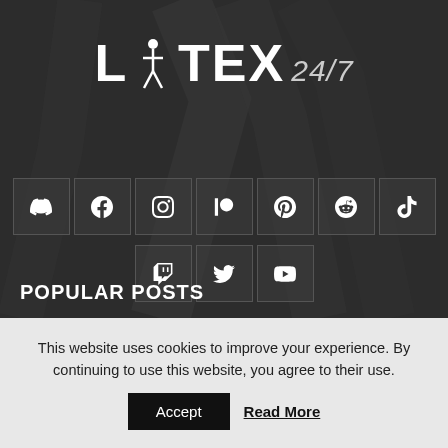[Figure (logo): LATEX 24/7 logo with stylized figure in white on dark background]
[Figure (infographic): Social media icon buttons: Discord, Facebook, Instagram, Patreon, Pinterest, Reddit, TikTok, Twitch, Twitter, YouTube]
POPULAR POSTS
This website uses cookies to improve your experience. By continuing to use this website, you agree to their use.
Accept  Read More